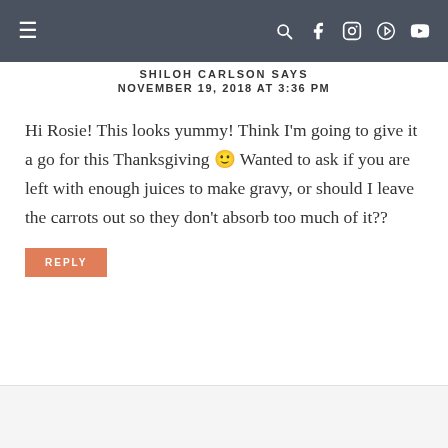≡  🔍 f 📷 𝗽 ▶
SHILOH CARLSON SAYS
NOVEMBER 19, 2018 AT 3:36 PM
Hi Rosie! This looks yummy! Think I'm going to give it a go for this Thanksgiving 🙂 Wanted to ask if you are left with enough juices to make gravy, or should I leave the carrots out so they don't absorb too much of it??
REPLY